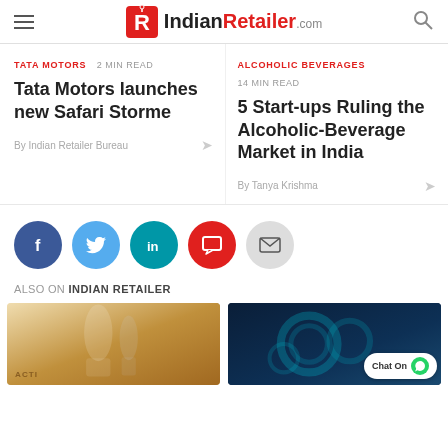IndianRetailer.com
TATA MOTORS  2 MIN READ
Tata Motors launches new Safari Storme
By Indian Retailer Bureau
ALCOHOLIC BEVERAGES  14 MIN READ
5 Start-ups Ruling the Alcoholic-Beverage Market in India
By  Tanya Krishma
[Figure (infographic): Social share buttons: Facebook (blue), Twitter (light blue), LinkedIn (teal), Comment (red), Email (grey)]
ALSO ON INDIAN RETAILER
[Figure (photo): Product photo showing cosmetic/essential oil bottles]
[Figure (photo): Dark teal background with circular chart graphics and Chat On WhatsApp bubble]